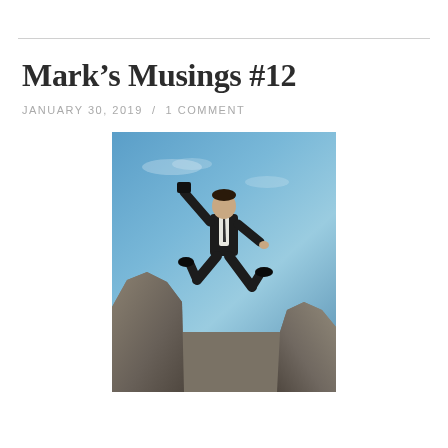Mark's Musings #12
JANUARY 30, 2019 / 1 COMMENT
[Figure (photo): A businessman in a dark suit leaping across a gap between two rocky cliffs against a blue sky background]